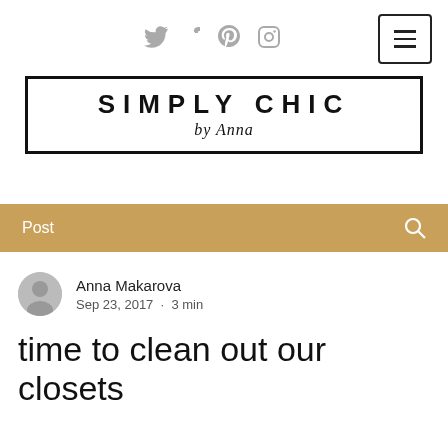Social icons: Twitter, Facebook, Pinterest, Instagram; Menu button
[Figure (logo): Simply Chic by Anna logo — bold uppercase text inside a black border box with script subtitle]
Post
Anna Makarova
Sep 23, 2017 · 3 min
time to clean out our closets